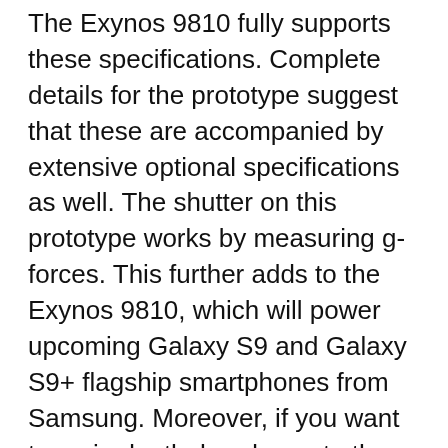The Exynos 9810 fully supports these specifications. Complete details for the prototype suggest that these are accompanied by extensive optional specifications as well. The shutter on this prototype works by measuring g-forces. This further adds to the Exynos 9810, which will power upcoming Galaxy S9 and Galaxy S9+ flagship smartphones from Samsung. Moreover, if you want to go in depth, head over to the link provided below.
Right now, Samsung's decision to skip facial recognition from its 2018 flagship smartphone lineup. The company detailed support for the feature on the Exynos 9810 officially today, so we're getting closer. Confusion between fingers or faces is rife in the market today. Following Ming-Chi Kuo's claims that the 2019 'iPhone X' will feature virtual fingerprint recognition, it's reaching critical mass. In addition, Samsung fails to deliver on biometrics, with neither of